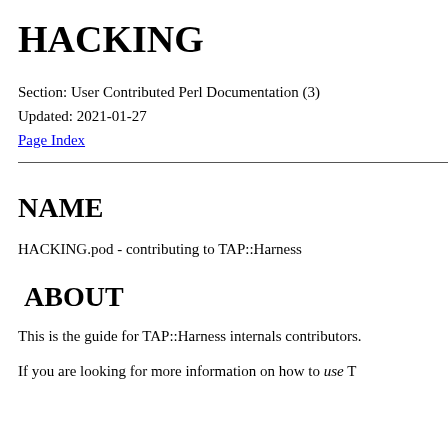HACKING
Section: User Contributed Perl Documentation (3)
Updated: 2021-01-27
Page Index
NAME
HACKING.pod - contributing to TAP::Harness
ABOUT
This is the guide for TAP::Harness internals contributors.
If you are looking for more information on how to use T